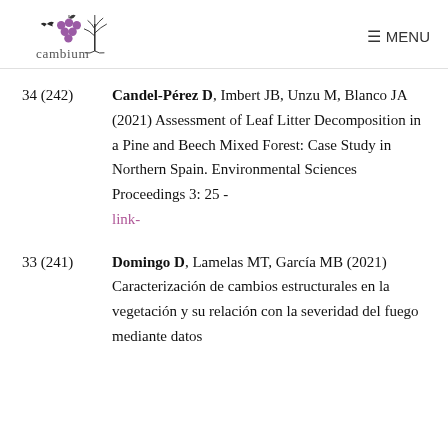cambium | MENU
34 (242) Candel-Pérez D, Imbert JB, Unzu M, Blanco JA (2021) Assessment of Leaf Litter Decomposition in a Pine and Beech Mixed Forest: Case Study in Northern Spain. Environmental Sciences Proceedings 3: 25 - link-
33 (241) Domingo D, Lamelas MT, García MB (2021) Caracterización de cambios estructurales en la vegetación y su relación con la severidad del fuego mediante datos